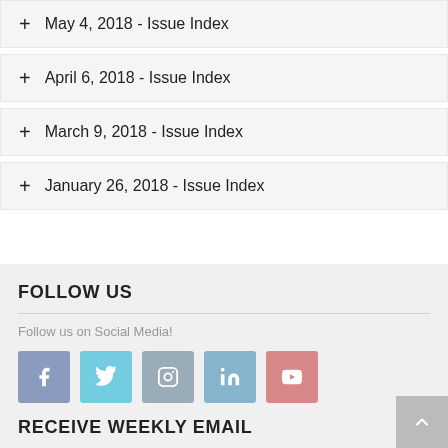+ May 4, 2018 - Issue Index
+ April 6, 2018 - Issue Index
+ March 9, 2018 - Issue Index
+ January 26, 2018 - Issue Index
FOLLOW US
Follow us on Social Media!
[Figure (infographic): Social media icons: Facebook, Twitter, Instagram, LinkedIn, YouTube]
RECEIVE WEEKLY EMAIL